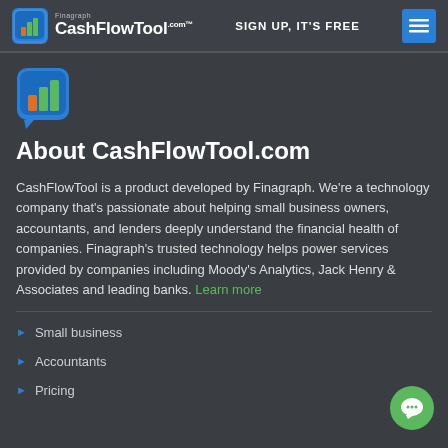CashFlowTool.com — SIGN UP, IT'S FREE
[Figure (logo): CashFlowTool.com logo with bar chart icon inside a rounded square speech bubble]
About CashFlowTool.com
CashFlowTool is a product developed by Finagraph. We're a technology company that's passionate about helping small business owners, accountants, and lenders deeply understand the financial health of companies. Finagraph's trusted technology helps power services provided by companies including Moody's Analytics, Jack Henry & Associates and leading banks. Learn more
Small business
Accountants
Pricing